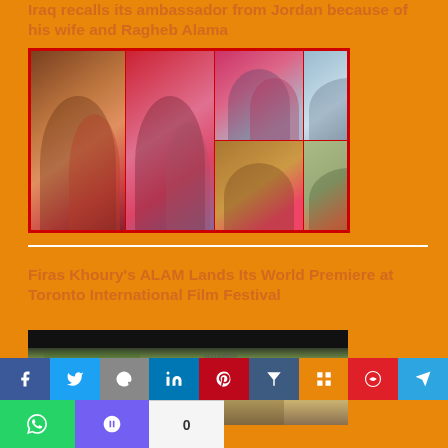Iraq recalls its ambassador from Jordan because of his wife and Ragheb Alama
[Figure (photo): Photo collage of a woman in red dress with various men at social gatherings]
Firas Khoury's ALAM Lands Its World Premiere at Toronto International Film Festival
[Figure (photo): Scene from the film ALAM showing people with flags and the word 'occupation']
Social sharing bar with Facebook, Twitter, Email, LinkedIn, Pinterest, Pocket, Blogger, Weibo, Telegram, WhatsApp, Viber, and share count 0